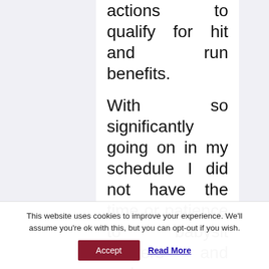actions to qualify for hit and run benefits.
With so significantly going on in my schedule I did not have the time or patience to babysit lawyers and make sure my case was moving forward but I didn't have to do that with these guys. Despite the fact that the police and district attorney's office will make every affordable work to
This website uses cookies to improve your experience. We'll assume you're ok with this, but you can opt-out if you wish.